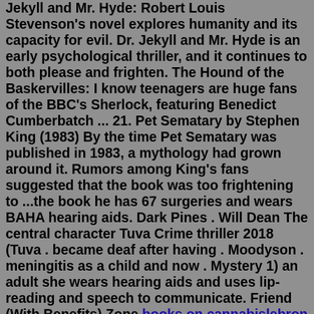Jekyll and Mr. Hyde: Robert Louis Stevenson's novel explores humanity and its capacity for evil. Dr. Jekyll and Mr. Hyde is an early psychological thriller, and it continues to both please and frighten. The Hound of the Baskervilles: I know teenagers are huge fans of the BBC's Sherlock, featuring Benedict Cumberbatch ... 21. Pet Sematary by Stephen King (1983) By the time Pet Sematary was published in 1983, a mythology had grown around it. Rumors among King's fans suggested that the book was too frightening to ...the book he has 67 surgeries and wears BAHA hearing aids. Dark Pines . Will Dean The central character Tuva Crime thriller 2018 (Tuva . became deaf after having . Moodyson . meningitis as a child and now . Mystery 1) an adult she wears hearing aids and uses lip-reading and speech to communicate. Friend (With Benefits) Zone books on cannabislebron james bookvalley of the horses audiobookunveiled book